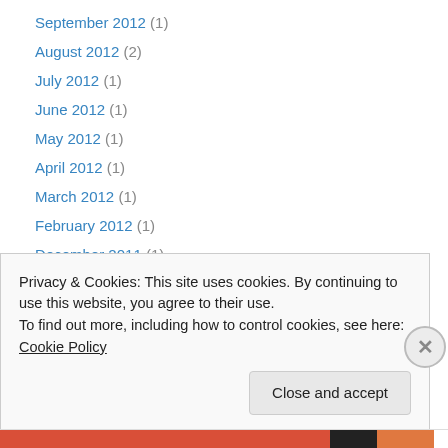September 2012 (1)
August 2012 (2)
July 2012 (1)
June 2012 (1)
May 2012 (1)
April 2012 (1)
March 2012 (1)
February 2012 (1)
December 2011 (1)
November 2011 (1)
July 2011 (3)
June 2011 (2)
May 2011 (1)
Privacy & Cookies: This site uses cookies. By continuing to use this website, you agree to their use. To find out more, including how to control cookies, see here: Cookie Policy
Close and accept